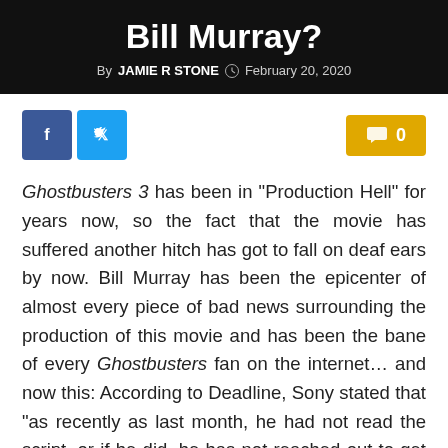Bill Murray?
By JAMIE R STONE  February 20, 2020
[Figure (other): Facebook and Twitter social share buttons on the left; yellow comment button with 0 on the right]
Ghostbusters 3 has been in “Production Hell” for years now, so the fact that the movie has suffered another hitch has got to fall on deaf ears by now. Bill Murray has been the epicenter of almost every piece of bad news surrounding the production of this movie and has been the bane of every Ghostbusters fan on the internet… and now this: According to Deadline, Sony stated that “as recently as last month, he had not read the script, or if he did, he has not reached out to get the deal making started.”